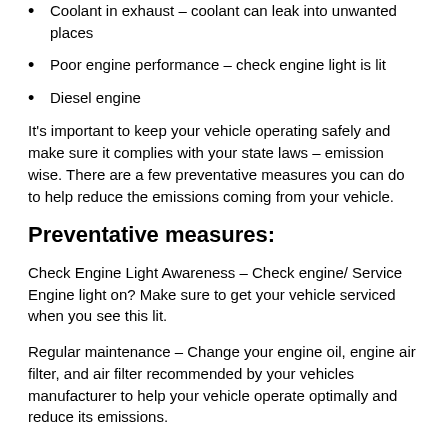Coolant in exhaust – coolant can leak into unwanted places
Poor engine performance – check engine light is lit
Diesel engine
It's important to keep your vehicle operating safely and make sure it complies with your state laws – emission wise. There are a few preventative measures you can do to help reduce the emissions coming from your vehicle.
Preventative measures:
Check Engine Light Awareness – Check engine/ Service Engine light on? Make sure to get your vehicle serviced when you see this lit.
Regular maintenance – Change your engine oil, engine air filter, and air filter recommended by your vehicles manufacturer to help your vehicle operate optimally and reduce its emissions.